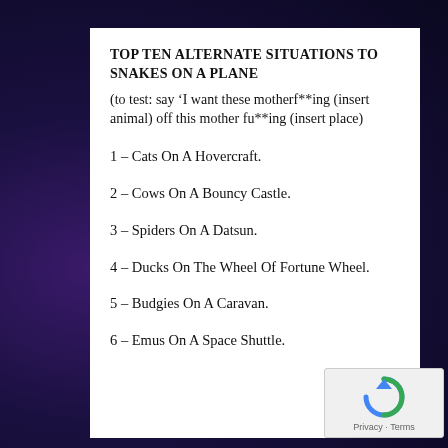TOP TEN ALTERNATE SITUATIONS TO SNAKES ON A PLANE
(to test: say ‘I want these motherf**ing (insert animal) off this mother fu**ing (insert place)
1 – Cats On A Hovercraft.
2 – Cows On A Bouncy Castle.
3 – Spiders On A Datsun.
4 – Ducks On The Wheel Of Fortune Wheel.
5 – Budgies On A Caravan.
6 – Emus On A Space Shuttle.